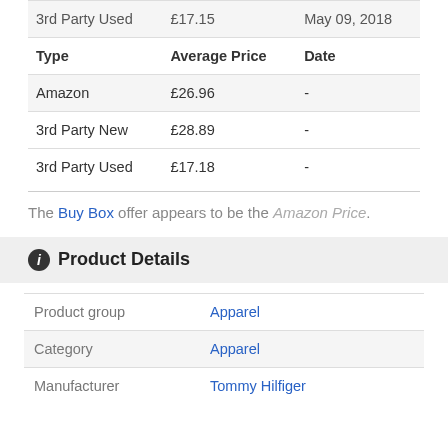| Type | Average Price | Date |
| --- | --- | --- |
| 3rd Party Used | £17.15 | May 09, 2018 |
| Type | Average Price | Date |
| Amazon | £26.96 | - |
| 3rd Party New | £28.89 | - |
| 3rd Party Used | £17.18 | - |
The Buy Box offer appears to be the Amazon Price.
Product Details
| Product group | Apparel |
| Category | Apparel |
| Manufacturer | Tommy Hilfiger |